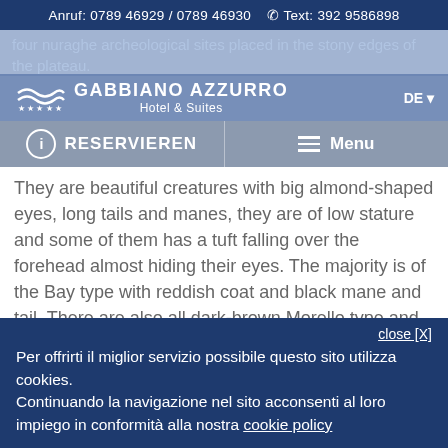Anruf: 0789 46929 / 0789 46930   Text: 392 9586898
[Figure (logo): Gabbiano Azzurro Hotel & Suites logo with wave graphic and stars]
four nuraghe archeological sites placed in the stony edges of the plateau.
RESERVIEREN   Menu
They are beautiful creatures with big almond-shaped eyes, long tails and manes, they are of low stature and some of them has a tuft falling over the forehead almost hiding their eyes. The majority is of the Bay type with reddish coat and black mane and tail. There are also all dark-brown Morello type and some of the Chestnut type with a red coat and blond mane and tail.
The Mediterranean scrub is almost entirely palm...
close [X]
Per offrirti il miglior servizio possibile questo sito utilizza cookies.
Continuando la navigazione nel sito acconsenti al loro impiego in conformità alla nostra cookie policy